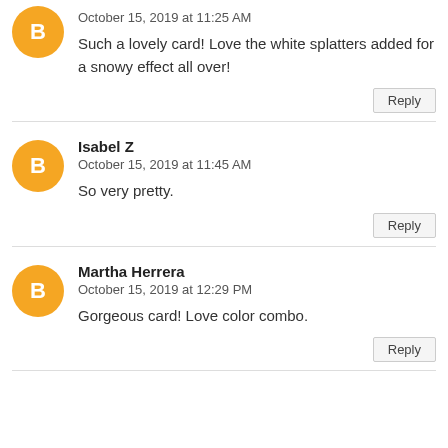October 15, 2019 at 11:25 AM
Such a lovely card! Love the white splatters added for a snowy effect all over!
Reply
Isabel Z
October 15, 2019 at 11:45 AM
So very pretty.
Reply
Martha Herrera
October 15, 2019 at 12:29 PM
Gorgeous card! Love color combo.
Reply